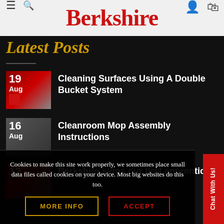Berkshire
Latest Posts
19 Aug — Cleaning Surfaces Using A Double Bucket System
16 Aug — Cleanroom Mop Assembly Instructions
12 — Berkshire signs our first apprentice
Cookies to make this site work properly, we sometimes place small data files called cookies on your device. Most big websites do this too.
MORE INFO
ACCEPT
Chat With Us!